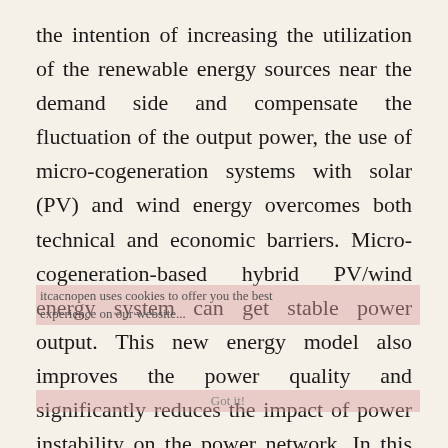the intention of increasing the utilization of the renewable energy sources near the demand side and compensate the fluctuation of the output power, the use of micro-cogeneration systems with solar (PV) and wind energy overcomes both technical and economic barriers. Micro-cogeneration-based hybrid PV/wind energy system can get stable power output. This new energy model also improves the power quality and significantly reduces the impact of power instability on the power network. In this study, the grid-connected hybrid PV/wind energy-based micro-cogeneration system is modeled and analyzed in detail. In order to test the performance analysis of the system, seven different scenarios are analyzed during the case studies. The analysis results show that the new energy model presents effective solutions to electrical power balance because of its properties such as safety, incombustible structure...